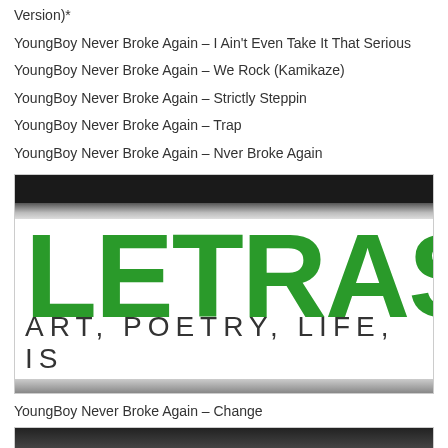Version)*
YoungBoy Never Broke Again – I Ain't Even Take It That Serious
YoungBoy Never Broke Again – We Rock (Kamikaze)
YoungBoy Never Broke Again – Strictly Steppin
YoungBoy Never Broke Again – Trap
YoungBoy Never Broke Again – Nver Broke Again
[Figure (logo): LETRAS2 logo with text ART, POETRY, LIFE, IS on white background with green lettering]
YoungBoy Never Broke Again – Change